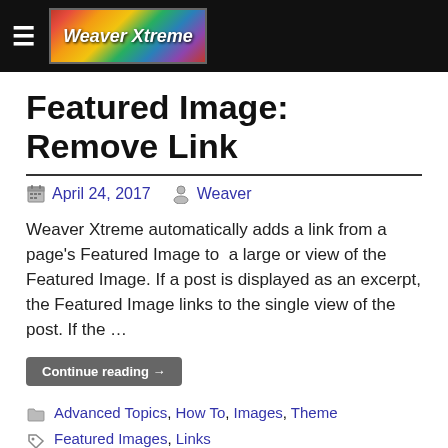Weaver Xtreme
Featured Image: Remove Link
April 24, 2017  Weaver
Weaver Xtreme automatically adds a link from a page's Featured Image to  a large or view of the Featured Image. If a post is displayed as an excerpt, the Featured Image links to the single view of the post. If the …
Continue reading →
Advanced Topics, How To, Images, Theme
Featured Images, Links
Featured Image : Beside Post